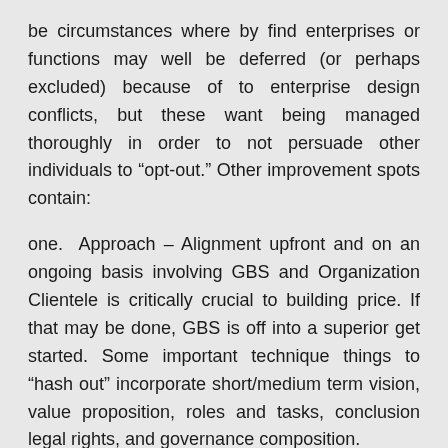be circumstances where by find enterprises or functions may well be deferred (or perhaps excluded) because of to enterprise design conflicts, but these want being managed thoroughly in order to not persuade other individuals to “opt-out.” Other improvement spots contain:
one. Approach – Alignment upfront and on an ongoing basis involving GBS and Organization Clientele is critically crucial to building price. If that may be done, GBS is off into a superior get started. Some important technique things to “hash out” incorporate short/medium term vision, value proposition, roles and tasks, conclusion legal rights, and governance composition.